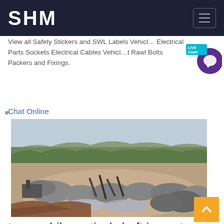SHM
View all Safety Stickers and SWL Labels Vehicle Electrical Parts Sockets Electrical Cables Vehicle Rawl Bolts Packers and Fixings.
Chat Online
[Figure (photo): Aerial view of a quarry or mining operation site with machinery, aggregate piles, and surrounding landscape with trees in the background.]
tyre mobile vertical shaft impact crusher in kenya